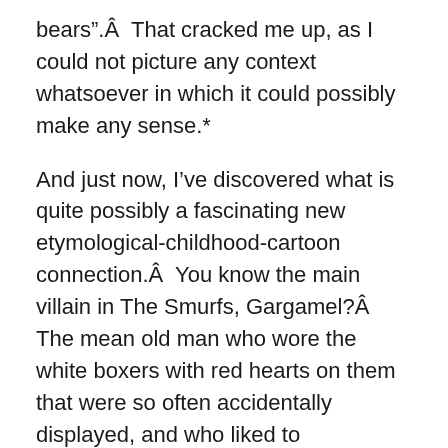bears".Â  That cracked me up, as I could not picture any context whatsoever in which it could possibly make any sense.*
And just now, I've discovered what is quite possibly a fascinating new etymological-childhood-cartoon connection.Â  You know the main villain in The Smurfs, Gargamel?Â  The mean old man who wore the white boxers with red hearts on them that were so often accidentally displayed, and who liked to kill/torture/capture/somehow mistreat Smurfs?Â  And whose cat was named Azrael, which struck me as similar to the demon Azazel wheh I watched that Denzel Washington movie Fallen?